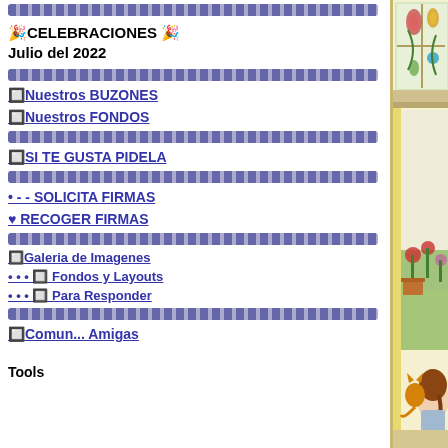[Figure (illustration): Decorative divider bar with repeating oval/circle pattern in blue-purple tones]
🎉CELEBRACIONES 🎉 Julio del 2022
[Figure (illustration): Decorative divider bar with repeating oval/circle pattern in blue-purple tones]
🔲Nuestros BUZONES
🔲Nuestros FONDOS
[Figure (illustration): Decorative divider bar with repeating oval/circle pattern in blue-purple tones]
🔲SI TE GUSTA PIDELA
[Figure (illustration): Decorative divider bar with repeating oval/circle pattern in blue-purple tones]
• - - SOLICITA FIRMAS
♥ RECOGER FIRMAS
[Figure (illustration): Decorative divider bar with repeating oval/circle pattern in blue-purple tones]
🔲Galeria de Imagenes
• • • 🔲 Fondos y Layouts
• • • 🔲 Para Responder
[Figure (illustration): Decorative divider bar with repeating oval/circle pattern in blue-purple tones]
🔲Comun... Amigas
Tools
[Figure (illustration): Illustration of a girl and orange cat sitting at a window, with flowers outside. Stained glass window above. Text overlay reads: Buenos días feliz martes pido a Dios qué te cuide a ti y a tú fa bendiciones]